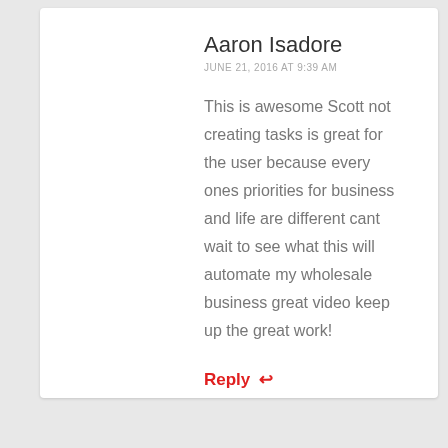[Figure (illustration): Default user avatar icon — grey silhouette of a person on a light grey background]
Aaron Isadore
JUNE 21, 2016 AT 9:39 AM
This is awesome Scott not creating tasks is great for the user because every ones priorities for business and life are different cant wait to see what this will automate my wholesale business great video keep up the great work!
Reply ↩